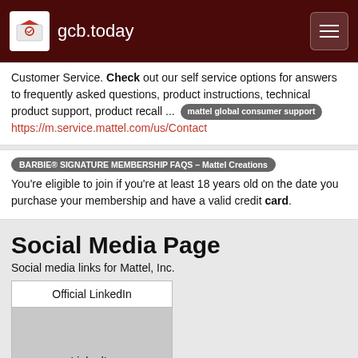gcb.today
Customer Service. Check out our self service options for answers to frequently asked questions, product instructions, technical product support, product recall ... https://m.service.mattel.com/us/Contact
BARBIE® SIGNATURE MEMBERSHIP FAQS – Mattel Creations
You're eligible to join if you're at least 18 years old on the date you purchase your membership and have a valid credit card.
Social Media Page
Social media links for Mattel, Inc.
| Official LinkedIn |
| --- |
| LinkedIn
linkedin.com/company/mattel/ |